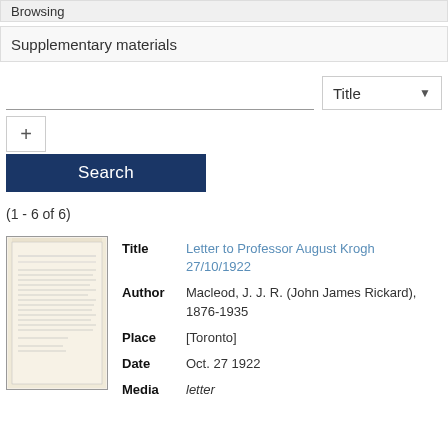Browsing
Supplementary materials
Title
+
Search
(1 - 6 of 6)
[Figure (photo): Thumbnail image of a handwritten or typed letter document]
| Field | Value |
| --- | --- |
| Title | Letter to Professor August Krogh 27/10/1922 |
| Author | Macleod, J. J. R. (John James Rickard), 1876-1935 |
| Place | [Toronto] |
| Date | Oct. 27 1922 |
| Media | letter |